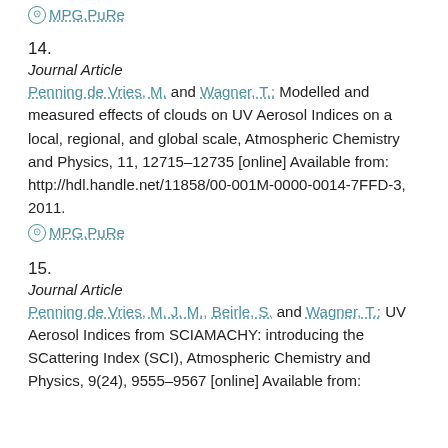⓻ MPG.PuRe
14.
Journal Article
Penning de Vries, M. and Wagner, T.: Modelled and measured effects of clouds on UV Aerosol Indices on a local, regional, and global scale, Atmospheric Chemistry and Physics, 11, 12715–12735 [online] Available from: http://hdl.handle.net/11858/00-001M-0000-0014-7FFD-3, 2011.
⓻ MPG.PuRe
15.
Journal Article
Penning de Vries, M. J. M., Beirle, S. and Wagner, T.: UV Aerosol Indices from SCIAMACHY: introducing the SCattering Index (SCI), Atmospheric Chemistry and Physics, 9(24), 9555–9567 [online] Available from: